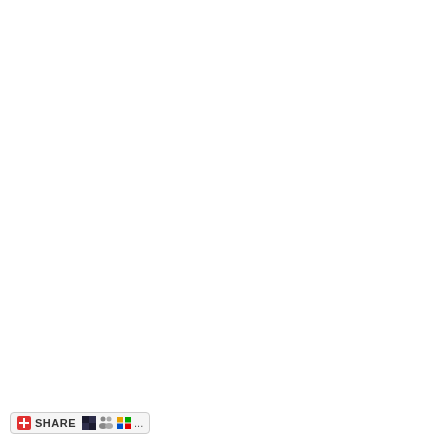[Figure (screenshot): Social sharing toolbar with a red plus icon, SHARE text label, and social media icons (Delicious, Digg, Windows Live) followed by ellipsis dots, enclosed in a rounded rectangle border]